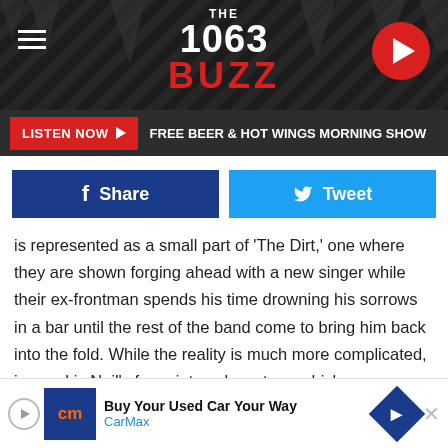THE 1063 BUZZ
LISTEN NOW ▶  FREE BEER & HOT WINGS MORNING SHOW
Share   Tweet
is represented as a small part of 'The Dirt,' one where they are shown forging ahead with a new singer while their ex-frontman spends his time drowning his sorrows in a bar until the rest of the band come to bring him back into the fold. While the reality is much more complicated, ignored is Neil's foray into solo waters, which was somewhat successful at first. His 1992 debut 'Exposed' beat his former bandmates to the punch by almost a year and topped out at No. 13 on the 'Billboard' charts. Less well received was the follow up, 1995's
Buy Your Used Car Your Way CarMax